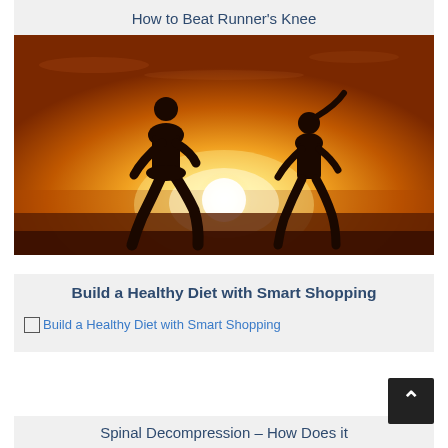How to Beat Runner's Knee
[Figure (photo): Two silhouetted runners (a man and a woman) jogging against a bright golden sunset background]
Build a Healthy Diet with Smart Shopping
[Figure (photo): Broken image placeholder link text: Build a Healthy Diet with Smart Shopping]
Spinal Decompression – How Does it